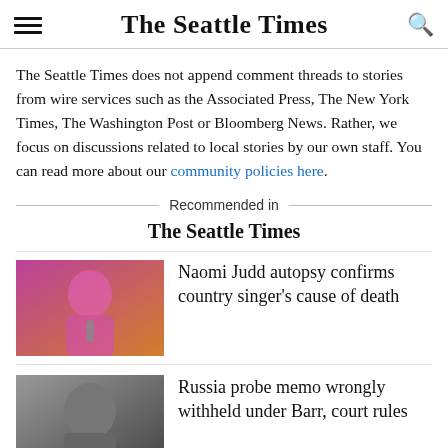The Seattle Times
The Seattle Times does not append comment threads to stories from wire services such as the Associated Press, The New York Times, The Washington Post or Bloomberg News. Rather, we focus on discussions related to local stories by our own staff. You can read more about our community policies here.
Recommended in The Seattle Times
Naomi Judd autopsy confirms country singer's cause of death
Russia probe memo wrongly withheld under Barr, court rules